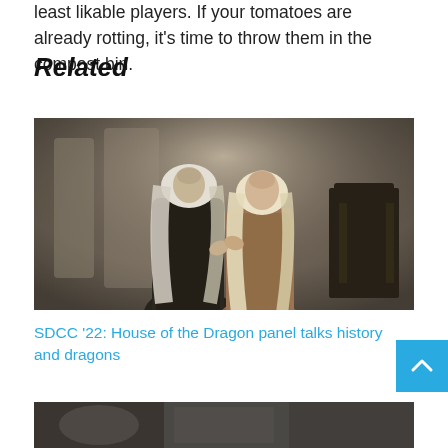least likable players. If your tomatoes are already rotting, it's time to throw them in the compost bin.
Related
[Figure (photo): Two characters with long silver-white hair facing each other in an intimate pose, from the TV show House of the Dragon. The scene is dimly lit with muted stone architecture in the background and a dark ornate chair visible at right.]
SDCC '22: House of the Dragon panel talks history and dragons
[Figure (photo): Partial view of another related image at the bottom of the page, cut off.]